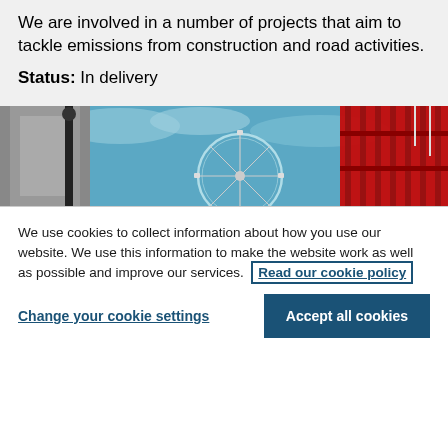We are involved in a number of projects that aim to tackle emissions from construction and road activities.
Status: In delivery
[Figure (photo): Photograph showing a view of the London Eye ferris wheel with red fencing and a lamppost in the foreground against a blue cloudy sky.]
We use cookies to collect information about how you use our website. We use this information to make the website work as well as possible and improve our services. Read our cookie policy
Change your cookie settings
Accept all cookies